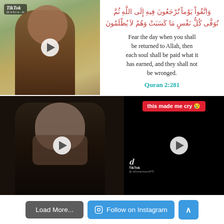[Figure (screenshot): TikTok video thumbnail showing a young man outdoors with tropical foliage background, with play button overlay]
وَاتَّقُواْ يَوْماً تُرْجَعُونَ فِيهِ إِلَى اللَّهِ ثُمَّ تُوَفَّى كُلُّ نَفْسٍ مَا كَسَبَتْ وَهُمْ لاَ يُظْلَمُونَ
Fear the day when you shall be returned to Allah, then each soul shall be paid what it has earned, and they shall not be wronged.
Quran 2:281
[Figure (screenshot): TikTok video thumbnail showing a bearded man in dark clothing, looking down, dark moody lighting, with play button overlay]
[Figure (screenshot): TikTok video thumbnail with black background, TikTok logo and handle visible, banner reading 'this made me cry' with crying emoji, play button overlay]
Load More...
Follow on Instagram
↑